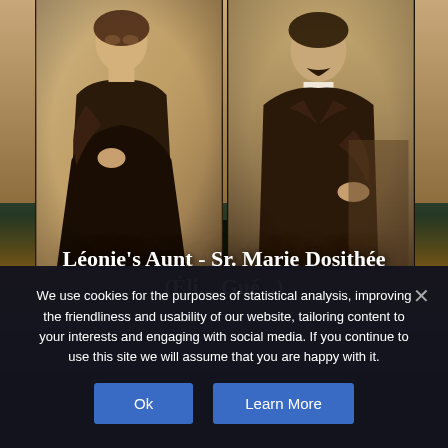[Figure (photo): Two sepia-toned Victorian-era portrait photographs side by side: on the left, a woman in a dark dress with white collar; on the right, a man in a dark suit with white shirt/cravat. Background shows a landscape/silhouette with dramatic sky.]
Léonie's Aunt - Sr. Marie Dosithée (Éli... Gué...)
We use cookies for the purposes of statistical analysis, improving the friendliness and usability of our website, tailoring content to your interests and engaging with social media. If you continue to use this site we will assume that you are happy with it.